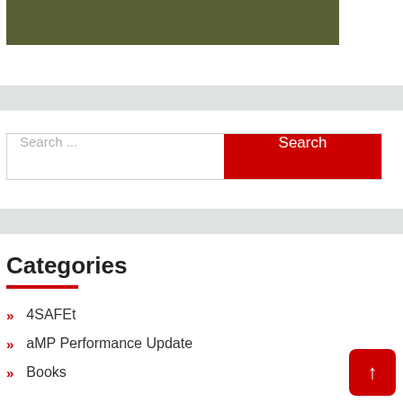[Figure (other): Olive/dark green rectangular banner image at the top of the page]
Search ...
Search
Categories
4SAFEt
aMP Performance Update
Books